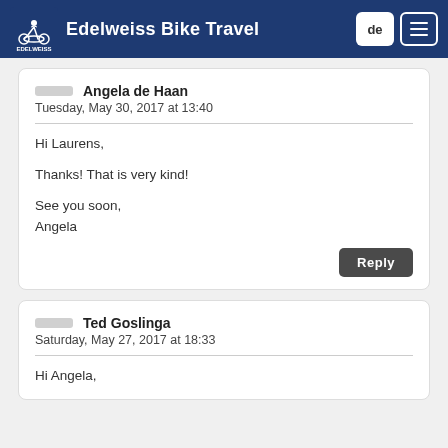Edelweiss Bike Travel
Angela de Haan
Tuesday, May 30, 2017 at 13:40

Hi Laurens,

Thanks! That is very kind!

See you soon,
Angela
Ted Goslinga
Saturday, May 27, 2017 at 18:33

Hi Angela,